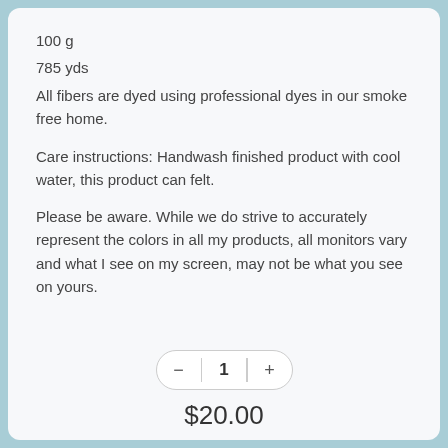100 g
785 yds
All fibers are dyed using professional dyes in our smoke free home.
Care instructions: Handwash finished product with cool water, this product can felt.
Please be aware. While we do strive to accurately represent the colors in all my products, all monitors vary and what I see on my screen, may not be what you see on yours.
1
$20.00
Sold Out